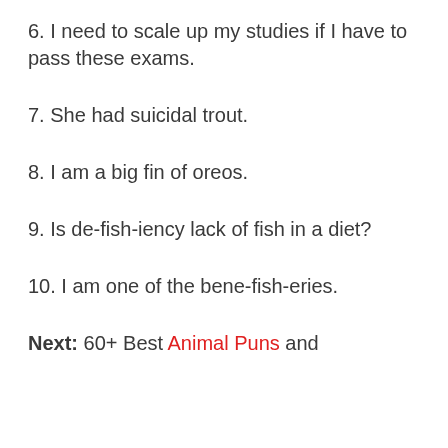6. I need to scale up my studies if I have to pass these exams.
7. She had suicidal trout.
8. I am a big fin of oreos.
9. Is de-fish-iency lack of fish in a diet?
10. I am one of the bene-fish-eries.
Next: 60+ Best Animal Puns and